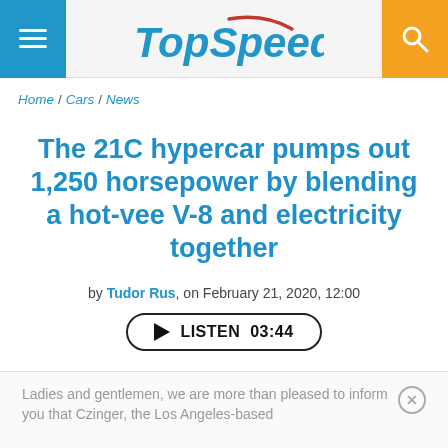TopSpeed — menu and search navigation bar
Home / Cars / News
The 21C hypercar pumps out 1,250 horsepower by blending a hot-vee V-8 and electricity together
by Tudor Rus, on February 21, 2020, 12:00
LISTEN 03:44
Ladies and gentlemen, we are more than pleased to inform you that Czinger, the Los Angeles-based